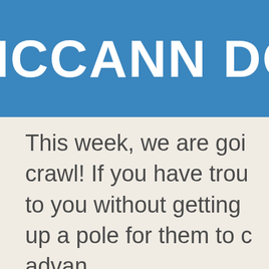McCANN DO
This week, we are goi... crawl! If you have trou... to you without getting... up a pole for them to c... advanc...